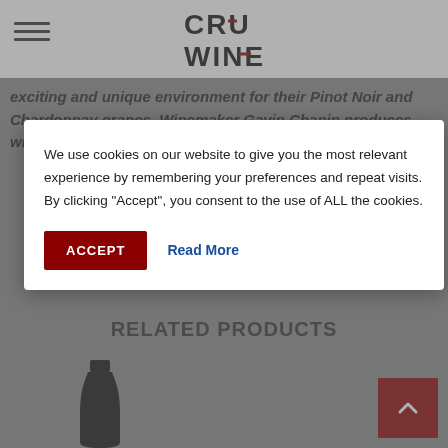[Figure (logo): CRU WINE logo in black text with red wine glass accent marks]
exciting and unique environment for their Pinot Noir and Chardonnay grapes. Winemaker Gavin Chanin produces wines
We use cookies on our website to give you the most relevant experience by remembering your preferences and repeat visits. By clicking "Accept", you consent to the use of ALL the cookies.
ACCEPT
Read More
RELATED PRODUCTS
[Figure (photo): Wine bottle silhouette]
[Figure (other): Scroll to top button with up arrow, dark red background]